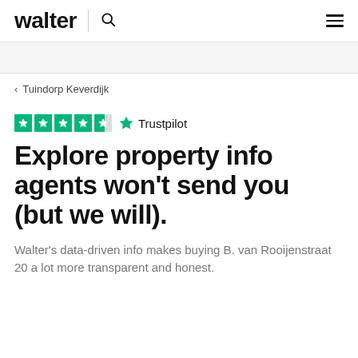walter | search hamburger menu
< Tuindorp Keverdijk
[Figure (logo): Trustpilot rating stars (4.5 out of 5) and Trustpilot logo]
Explore property info agents won't send you (but we will).
Walter's data-driven info makes buying B. van Rooijenstraat 20 a lot more transparent and honest.